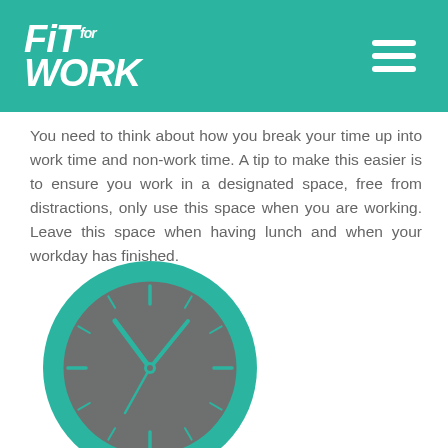Fit for WORK
You need to think about how you break your time up into work time and non-work time. A tip to make this easier is to ensure you work in a designated space, free from distractions, only use this space when you are working. Leave this space when having lunch and when your workday has finished.
[Figure (illustration): Illustration of a clock with a teal/turquoise outer ring and a dark grey clock face, showing hands pointing to approximately 10:10. Blue clock hands. Tick marks around the clock face.]